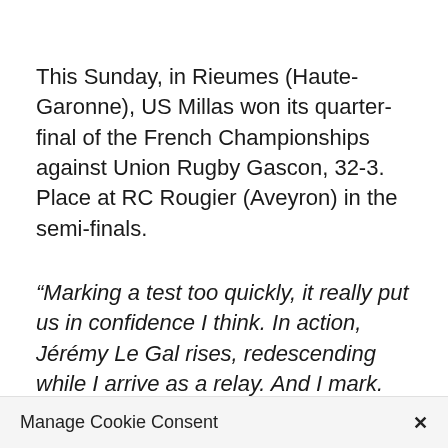This Sunday, in Rieumes (Haute-Garonne), US Millas won its quarter-final of the French Championships against Union Rugby Gascon, 32-3. Place at RC Rougier (Aveyron) in the semi-finals.
“Marking a test too quickly, it really put us in confidence I think. In action, Jérémy Le Gal rises, redescending while I arrive as a relay. And I mark. This combination has been working since the beginning of the season. “She paid
Manage Cookie Consent